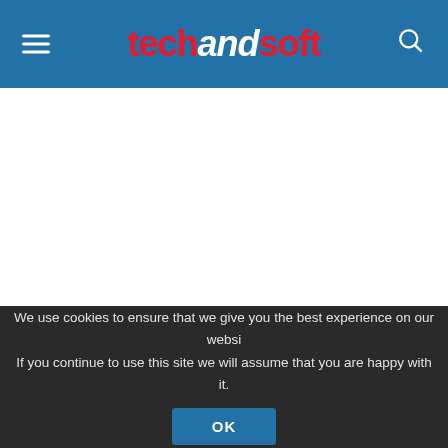techandsoft
We use cookies to ensure that we give you the best experience on our website. If you continue to use this site we will assume that you are happy with it.
OK